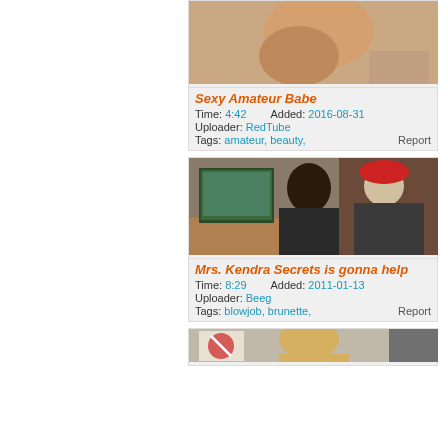[Figure (photo): Thumbnail image for video 'Sexy Amateur Babe']
Sexy Amateur Babe
Time: 4:42   Added: 2016-08-31
Uploader: RedTube
Tags: amateur, beauty,   Report
[Figure (photo): Thumbnail image for video 'Mrs. Kendra Secrets is gonna help' showing two people at a desk]
Mrs. Kendra Secrets is gonna help
Time: 8:29   Added: 2011-01-13
Uploader: Beeg
Tags: blowjob, brunette,   Report
[Figure (photo): Partial thumbnail image of third video (cropped at bottom of page)]